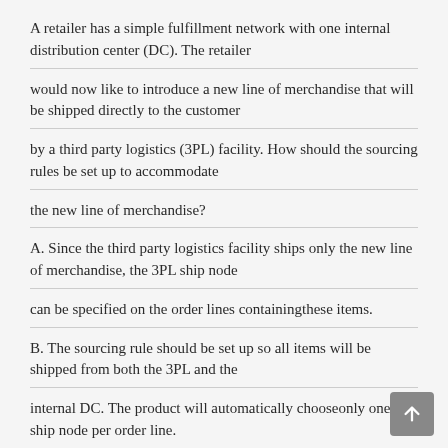A retailer has a simple fulfillment network with one internal distribution center (DC). The retailer
would now like to introduce a new line of merchandise that will be shipped directly to the customer
by a third party logistics (3PL) facility. How should the sourcing rules be set up to accommodate
the new line of merchandise?
A. Since the third party logistics facility ships only the new line of merchandise, the 3PL ship node
can be specified on the order lines containingthese items.
B. The sourcing rule should be set up so all items will be shipped from both the 3PL and the
internal DC. The product will automatically chooseonly one ship node per order line.
C. Item classification-based sourcing rule can be defined so only items belonging to the new line